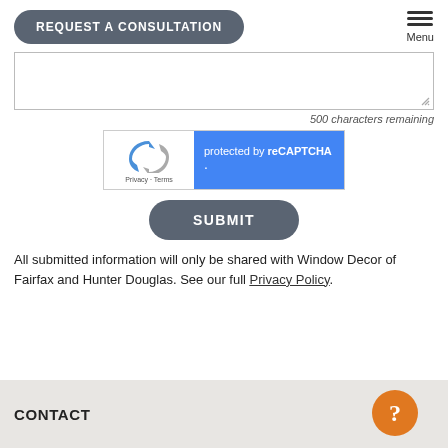REQUEST A CONSULTATION | Menu
[Figure (screenshot): Empty textarea form field with resize handle in bottom right corner]
500 characters remaining
[Figure (other): reCAPTCHA widget: left side shows reCAPTCHA logo with Privacy and Terms links; right blue panel shows 'protected by reCAPTCHA']
SUBMIT
All submitted information will only be shared with Window Decor of Fairfax and Hunter Douglas. See our full Privacy Policy.
CONTACT